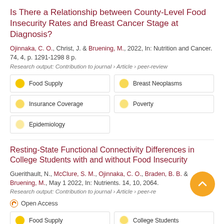Is There a Relationship between County-Level Food Insecurity Rates and Breast Cancer Stage at Diagnosis?
Ojinnaka, C. O., Christ, J. & Bruening, M., 2022, In: Nutrition and Cancer. 74, 4, p. 1291-1298 8 p.
Research output: Contribution to journal › Article › peer-review
Food Supply
Breast Neoplasms
Insurance Coverage
Poverty
Epidemiology
Resting-State Functional Connectivity Differences in College Students with and without Food Insecurity
Guerithault, N., McClure, S. M., Ojinnaka, C. O., Braden, B. B. & Bruening, M., May 1 2022, In: Nutrients. 14, 10, 2064.
Research output: Contribution to journal › Article › peer-review
Open Access
Food Supply
College Students